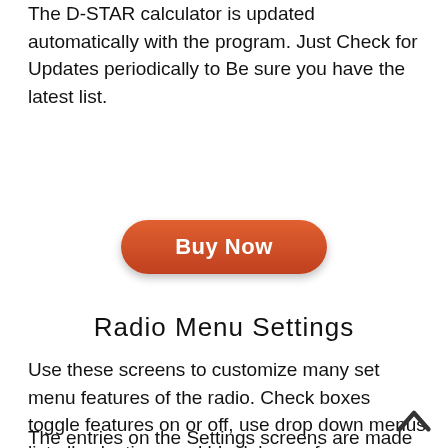The D-STAR calculator is updated automatically with the program. Just Check for Updates periodically to Be sure you have the latest list.
[Figure (other): Buy Now button — orange rounded rectangle with white bold text]
Radio Menu Settings
Use these screens to customize many set menu features of the radio. Check boxes toggle features on or off, use drop down menus list all selections and blank boxes for personalized entry add to the ease of setting up your radio exactly like you want it.
The entries on the Settings screens are made